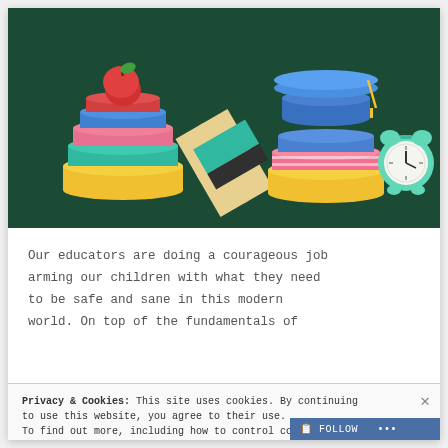[Figure (illustration): 3D illustration of educational items on a dark green background: a stack of colorful books with a red apple on top (left), a rolled diploma/scroll in the center, a stack of books with a blue graduation cap on top and an alarm clock (right)]
Our educators are doing a courageous job arming our children with what they need to be safe and sane in this modern world. On top of the fundamentals of
Privacy & Cookies: This site uses cookies. By continuing to use this website, you agree to their use. To find out more, including how to control cookies, see here: Cookie Policy
Close and accept
FOLLOW ...